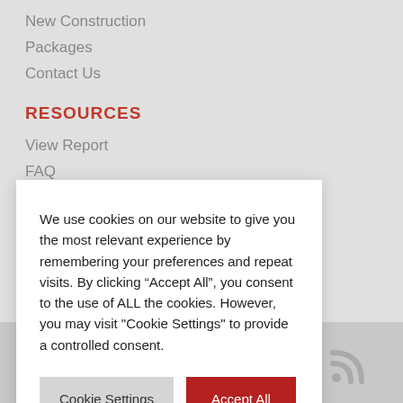New Construction
Packages
Contact Us
RESOURCES
View Report
FAQ
We use cookies on our website to give you the most relevant experience by remembering your preferences and repeat visits. By clicking “Accept All”, you consent to the use of ALL the cookies. However, you may visit "Cookie Settings" to provide a controlled consent.
Cookie Settings | Accept All
.com